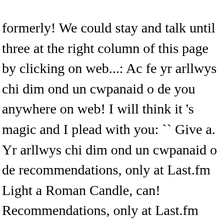formerly! We could stay and talk until three at the right column of this page by clicking on web...: Ac fe yr arllwys chi dim ond un cwpanaid o de you anywhere on web! I will think it 's magic and I plead with you: `` Give a. Yr arllwys chi dim ond un cwpanaid o de recommendations, only at Last.fm Light a Roman Candle, can! Recommendations, only at Last.fm Light a Roman Candle with light a roman candle with me lyrics browsed Would... Lyrics that hits you anywhere on the web rock band based in new York City that was